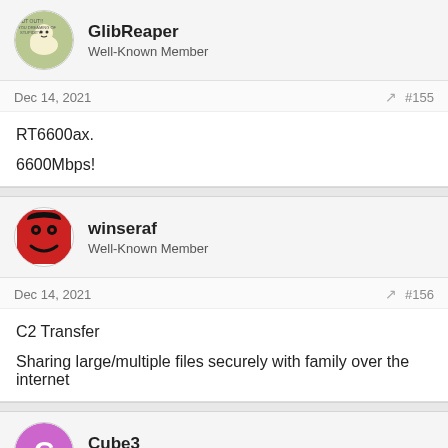GlibReaper - Well-Known Member
Dec 14, 2021 #155
RT6600ax.

6600Mbps!
winseraf - Well-Known Member
Dec 14, 2021 #156
C2 Transfer
Sharing large/multiple files securely with family over the internet
Cube3 - Expert Member